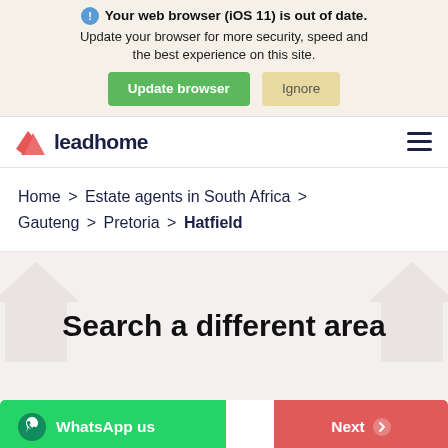Your web browser (iOS 11) is out of date. Update your browser for more security, speed and the best experience on this site.
[Figure (screenshot): Browser update banner with Update browser (green) and Ignore (tan) buttons]
[Figure (logo): Leadhome logo — red house/chevron icon followed by bold dark navy text 'leadhome']
Home > Estate agents in South Africa > Gauteng > Pretoria > Hatfield
Search a different area
WhatsApp us
Next